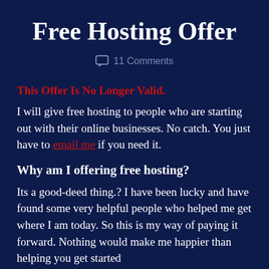Free Hosting Offer
💬 11 Comments
This Offer Is No Longer Valid.
I will give free hosting to people who are starting out with their online businesses. No catch. You just have to email me if you need it.
Why am I offering free hosting?
Its a good-deed thing.? I have been lucky and have found some very helpful people who helped me get where I am today. So this is my way of paying it forward. Nothing would make me happier than helping you get started